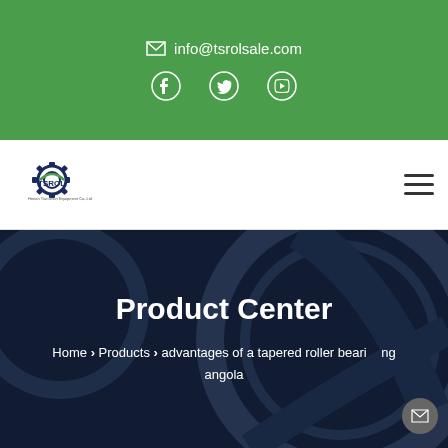info@tsrolsale.com
[Figure (logo): TSROL company logo with gear icon]
Product Center
Home > Products > advantages of a tapered roller bearing angola